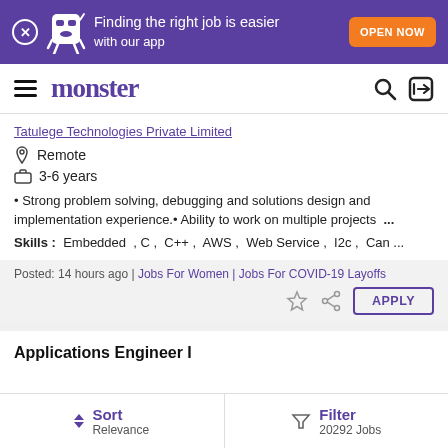[Figure (screenshot): Monster job search app promotional banner with purple background, mascot character, 'Finding the right job is easier with our app' text, and orange 'OPEN NOW' button]
monster
Tatulege Technologies Private Limited
Remote
3-6 years
• Strong problem solving, debugging and solutions design and implementation experience.• Ability to work on multiple projects ...
Skills : Embedded , C , C++ , AWS , Web Service , I2c , Can ...
Posted: 14 hours ago | Jobs For Women | Jobs For COVID-19 Layoffs
Applications Engineer I
Sort Relevance | Filter 20292 Jobs